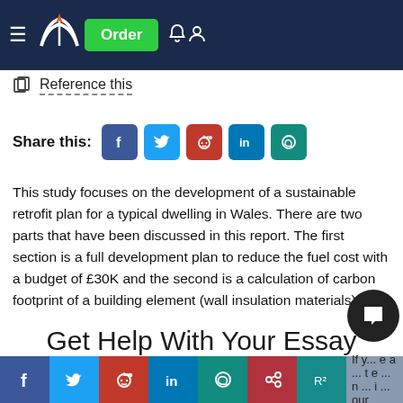[Figure (screenshot): Website navigation bar with dark navy background, hamburger menu, open book logo with orange pen nib, green Order button, bell and user icons]
Reference this
Share this:
This study focuses on the development of a sustainable retrofit plan for a typical dwelling in Wales. There are two parts that have been discussed in this report. The first section is a full development plan to reduce the fuel cost with a budget of £30K and the second is a calculation of carbon footprint of a building element (wall insulation materials).
Get Help With Your Essay
If y... e a ... t e ... n ... i ... our